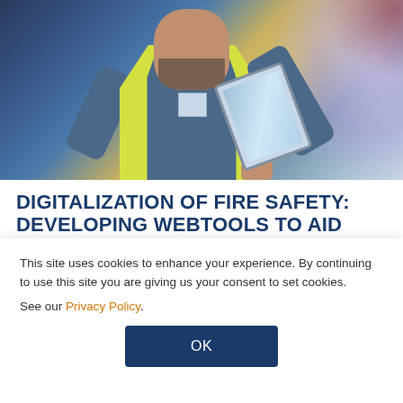[Figure (photo): A worker wearing a yellow high-visibility vest looking at a tablet/laptop device, photographed from chest level upward against a blurred background with blue-purple and warm tones.]
DIGITALIZATION OF FIRE SAFETY: DEVELOPING WEBTOOLS TO AID THE FIRE SAFETY ENGINEER
This site uses cookies to enhance your experience. By continuing to use this site you are giving us your consent to set cookies.
See our Privacy Policy.
OK